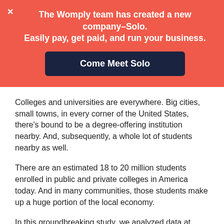[Figure (infographic): Red banner with close X button, bold white text reading 'The Womply team has created a new company–Solo. Easily pay, get paid, and run your business.' and a dark navy button labeled 'Come Meet Solo']
Colleges and universities are everywhere. Big cities, small towns, in every corner of the United States, there's bound to be a degree-offering institution nearby. And, subsequently, a whole lot of students nearby as well.
There are an estimated 18 to 20 million students enrolled in public and private colleges in America today. And in many communities, those students make up a huge portion of the local economy.
In this groundbreaking study, we analyzed data at local businesses in Murfreesboro to see what kind of impact major events during the school year at Middle Tennessee State University has on local businesses.
NOTE: You can view other industry-level reports through the